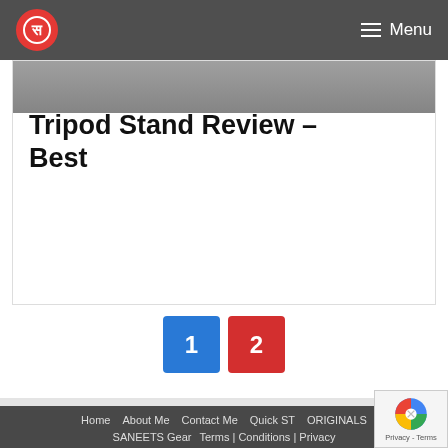Menu
Tripod Stand Review – Best
[Figure (infographic): Pagination buttons showing page 1 (blue) and page 2 (red)]
Home | About Me | Contact Me | Quick ST | ORIGINALS | SANEETS Gear | Terms | Conditions | Privacy | © 2022 SANEETS | All Right Reserved.